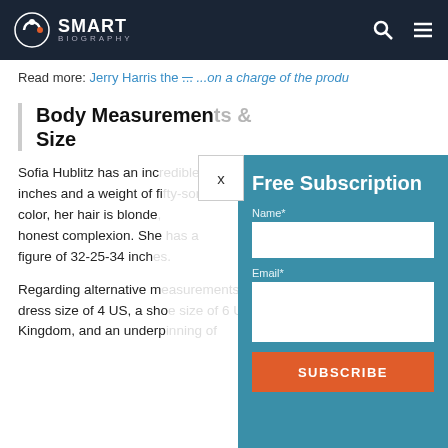SMART BIOGRAPHY
Read more: Jerry Harris the [link text obscured] on a charge of the produ[ction]
Body Measurements & Size
Sofia Hublitz has an inc[redible height of 5 feet 5] inches and a weight of fi[fty-something kg. For eye] color, her hair is blonde[,] honest complexion. She [has a] figure of 32-25-34 inch[es.]
Regarding alternative m[easurements, she has a] dress size of 4 US, a sho[e size of 6 United] Kingdom, and an underp[inning of]
Free Subscription
Name*
Email*
SUBSCRIBE